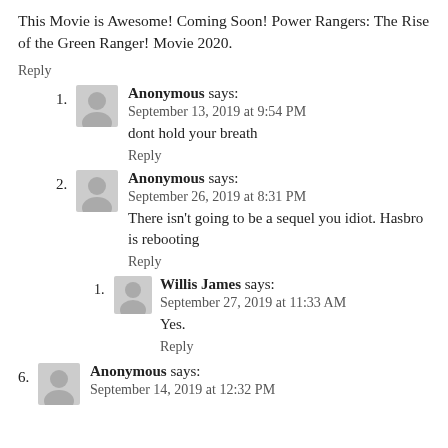This Movie is Awesome! Coming Soon! Power Rangers: The Rise of the Green Ranger! Movie 2020.
Reply
1. Anonymous says:
September 13, 2019 at 9:54 PM
dont hold your breath
Reply
2. Anonymous says:
September 26, 2019 at 8:31 PM
There isn't going to be a sequel you idiot. Hasbro is rebooting
Reply
1. Willis James says:
September 27, 2019 at 11:33 AM
Yes.
Reply
6. Anonymous says:
September 14, 2019 at 12:32 PM